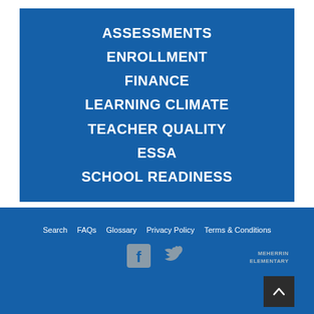ASSESSMENTS
ENROLLMENT
FINANCE
LEARNING CLIMATE
TEACHER QUALITY
ESSA
SCHOOL READINESS
Search   FAQs   Glossary   Privacy Policy   Terms & Conditions